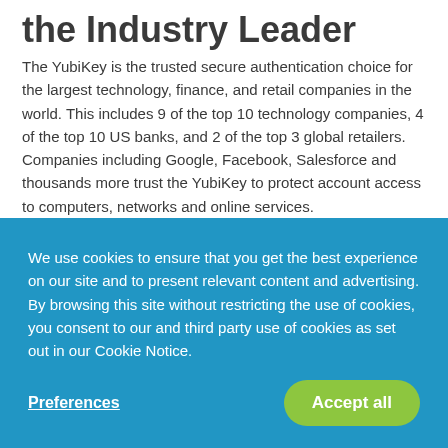the Industry Leader
The YubiKey is the trusted secure authentication choice for the largest technology, finance, and retail companies in the world. This includes 9 of the top 10 technology companies, 4 of the top 10 US banks, and 2 of the top 3 global retailers. Companies including Google, Facebook, Salesforce and thousands more trust the YubiKey to protect account access to computers, networks and online services.
We use cookies to ensure that you get the best experience on our site and to present relevant content and advertising. By browsing this site without restricting the use of cookies, you consent to our and third party use of cookies as set out in our Cookie Notice.
Preferences
Accept all